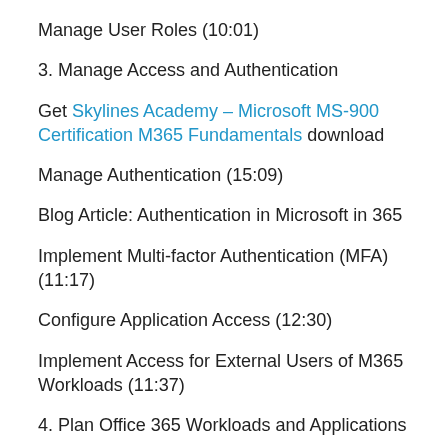Manage User Roles (10:01)
3. Manage Access and Authentication
Get Skylines Academy – Microsoft MS-900 Certification M365 Fundamentals download
Manage Authentication (15:09)
Blog Article: Authentication in Microsoft in 365
Implement Multi-factor Authentication (MFA) (11:17)
Configure Application Access (12:30)
Implement Access for External Users of M365 Workloads (11:37)
4. Plan Office 365 Workloads and Applications
Plan for Office 365 Workload Deployment (13:56)
Plan Office 365 Application Deployment (16:42)